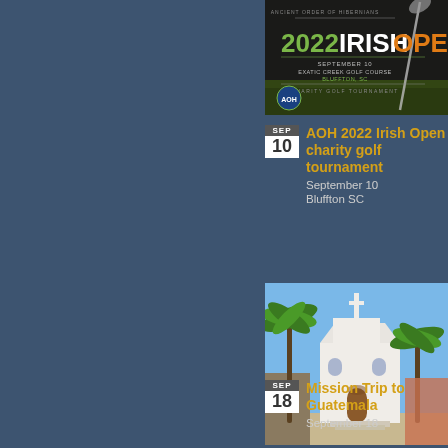[Figure (photo): 2022 AOH Irish Open charity golf tournament promotional image with dark background, green and white text, AOH logo, and golf club graphic]
AOH 2022 Irish Open charity golf tournament
September 10
Bluffton SC
[Figure (photo): White church or chapel with a cross on top, palm trees in foreground, blue sky, tropical location, likely Guatemala]
Mission Trip to Guatemala
September 18